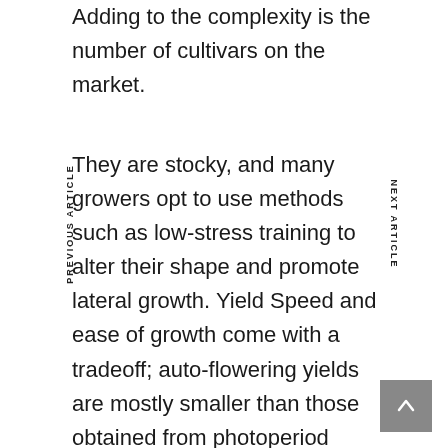Adding to the complexity is the number of cultivars on the market.
They are stocky, and many growers opt to use methods such as low-stress training to alter their shape and promote lateral growth. Yield Speed and ease of growth come with a tradeoff; auto-flowering yields are mostly smaller than those obtained from photoperiod varieties. Autoflowering cultivars also received the trait of reduced productivity.